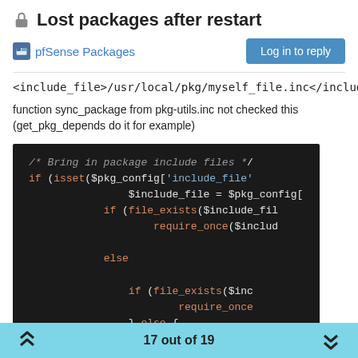Lost packages after restart
pfSense Packages
<include_file>/usr/local/pkg/myself_file.inc</include_file>
function sync_package from pkg-utils.inc not checked this (get_pkg_depends do it for example)
[Figure (screenshot): Code screenshot showing PHP code for syncing packages with include_file logic, require_once calls, file_exists checks, else branch, log_error, install_pack, and uninstall_pa functions on a dark background.]
17 out of 19